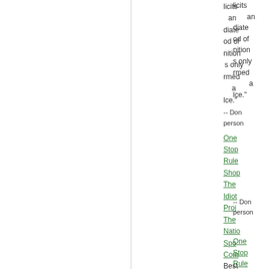licits an diate od of nition only rmed a lce."
-- Don
 person
One Stop Rule Shop
The Idiot Proj
The Natio Spo Com
Best part of NS since 2003